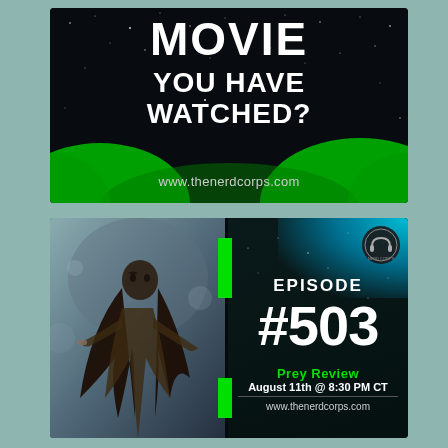[Figure (illustration): Dark starfield background with green nebula glow and bold white text reading MOVIE YOU HAVE WATCHED? with URL www.thenerdcorps.com]
[Figure (illustration): Podcast episode card showing a Native American woman warrior character on left, Episode #503 Prey Review text on right dark background with teal glow and Nerd Corps logo, dated August 11th @ 8:30 PM CT, www.thenerdcorps.com]